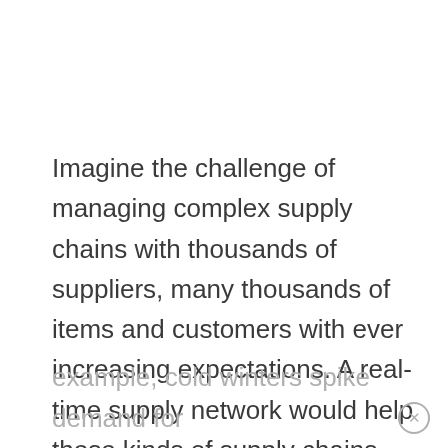Imagine the challenge of managing complex supply chains with thousands of suppliers, many thousands of items and customers with ever increasing expectations. A real-time supply network would help these kinds of supply chains meet customer expectations and deliver intelligent enterprise insights based upon supply chain and other data sources. For
example, cold winters spike demand for